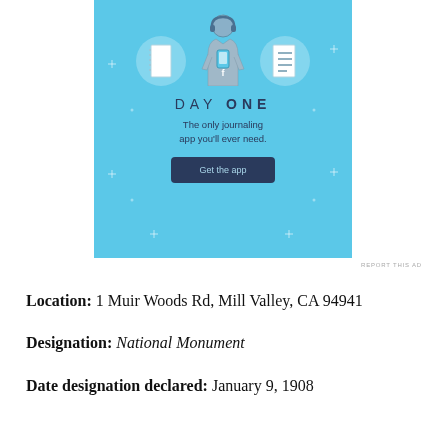[Figure (screenshot): Day One journaling app advertisement on a light blue background. Shows a person holding a phone flanked by two circular icons (notebook and checklist). Text reads 'DAY ONE - The only journaling app you'll ever need.' with a 'Get the app' button.]
REPORT THIS AD
Location: 1 Muir Woods Rd, Mill Valley, CA 94941
Designation: National Monument
Date designation declared: January 9, 1908